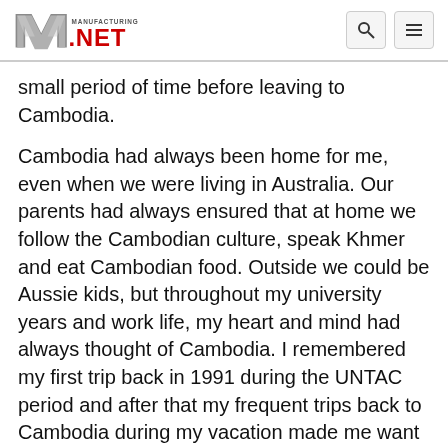Manufacturing.net
small period of time before leaving to Cambodia.
Cambodia had always been home for me, even when we were living in Australia. Our parents had always ensured that at home we follow the Cambodian culture, speak Khmer and eat Cambodian food. Outside we could be Aussie kids, but throughout my university years and work life, my heart and mind had always thought of Cambodia. I remembered my first trip back in 1991 during the UNTAC period and after that my frequent trips back to Cambodia during my vacation made me want to come back one day. Remembering the tough times during the Khmer Rouge period and the fortunate opportunity of